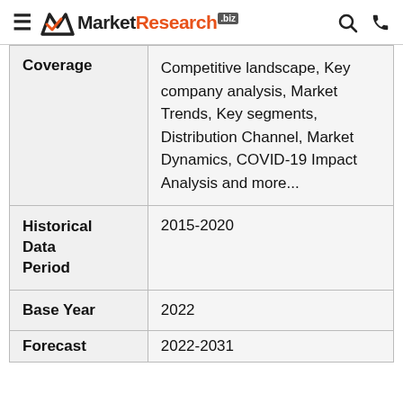MarketResearch.biz
| Coverage | Competitive landscape, Key company analysis, Market Trends, Key segments, Distribution Channel, Market Dynamics, COVID-19 Impact Analysis and more... |
| Historical Data Period | 2015-2020 |
| Base Year | 2022 |
| Forecast | 2022-2031 |